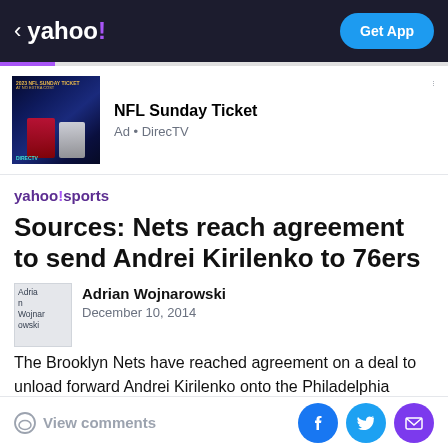yahoo! | Get App
[Figure (screenshot): NFL Sunday Ticket DirecTV advertisement with football players in dark background]
NFL Sunday Ticket
Ad • DirecTV
Sources: Nets reach agreement to send Andrei Kirilenko to 76ers
Adrian Wojnarowski
December 10, 2014
The Brooklyn Nets have reached agreement on a deal to unload forward Andrei Kirilenko onto the Philadelphia
View comments | Facebook | Twitter | Email